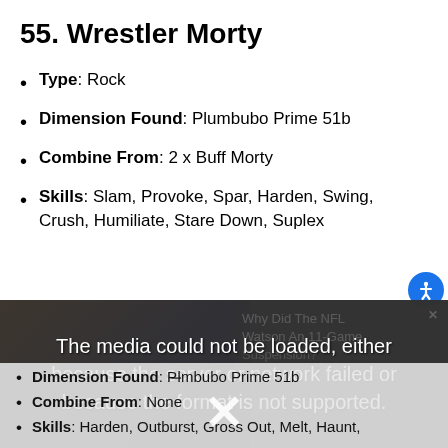55. Wrestler Morty
Type: Rock
Dimension Found: Plumbubo Prime 51b
Combine From: 2 x Buff Morty
Skills: Slam, Provoke, Spar, Harden, Swing, Crush, Humiliate, Stare Down, Suplex
[Figure (screenshot): Media error overlay on a dark background showing NFL-related ad on the right. The overlay reads: The media could not be loaded, either because the server or network failed or because the format is not supported. An X mark is visible below the text.]
Dimension Found: Plumbubo Prime 51b
Combine From: None
Skills: Harden, Outburst, Gross Out, Melt, Haunt,